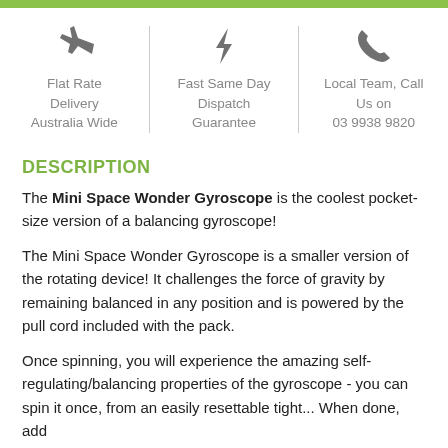[Figure (infographic): Three-column icon bar with airplane icon (Flat Rate Delivery Australia Wide), lightning bolt icon (Fast Same Day Dispatch Guarantee), and phone icon (Local Team, Call Us on 03 9938 9820)]
DESCRIPTION
The Mini Space Wonder Gyroscope is the coolest pocket-size version of a balancing gyroscope!
The Mini Space Wonder Gyroscope is a smaller version of the rotating device! It challenges the force of gravity by remaining balanced in any position and is powered by the pull cord included with the pack.
Once spinning, you will experience the amazing self-regulating/balancing properties of the gyroscope - you can spin it...